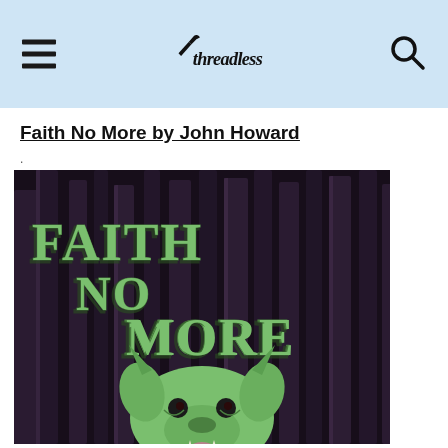Threadless - Faith No More by John Howard
Faith No More by John Howard
.
[Figure (illustration): Illustration for Faith No More band merchandise showing the band name in decorative horror/metal style lettering with green outlines against a dark forest background with purple-toned trees. In the lower portion, a detailed green creature (demonic bulldog/gargoyle) with fangs and horns is depicted in an intricate comic illustration style.]